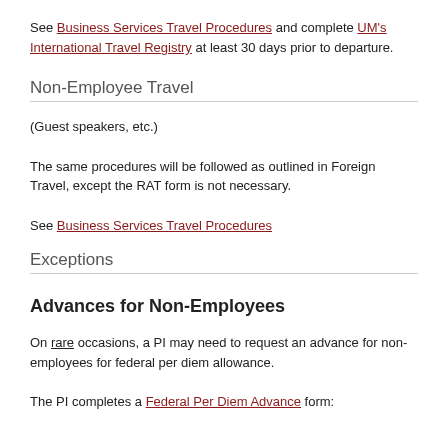See Business Services Travel Procedures and complete UM's International Travel Registry at least 30 days prior to departure.
Non-Employee Travel
(Guest speakers, etc.)
The same procedures will be followed as outlined in Foreign Travel, except the RAT form is not necessary.
See Business Services Travel Procedures
Exceptions
Advances for Non-Employees
On rare occasions, a PI may need to request an advance for non-employees for federal per diem allowance.
The PI completes a Federal Per Diem Advance form: